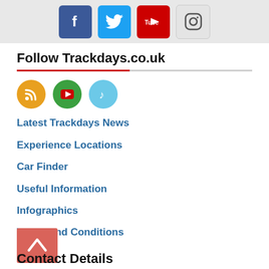[Figure (illustration): Social media icon buttons for Facebook, Twitter, YouTube, and Instagram in a grey banner at the top of the page]
Follow Trackdays.co.uk
[Figure (illustration): Three circular social media icons: RSS (orange), YouTube (green), TikTok (light blue)]
Latest Trackdays News
Experience Locations
Car Finder
Useful Information
Infographics
Terms and Conditions
Contact Details